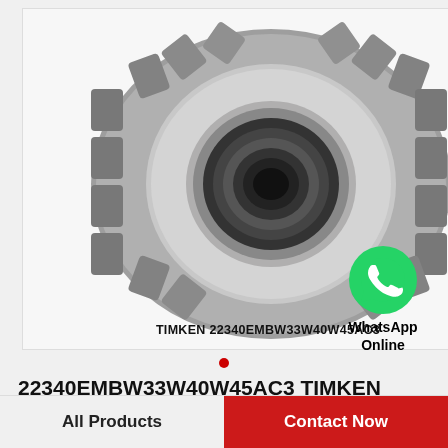[Figure (photo): TIMKEN tapered roller bearing product photo, gray metallic bearing with ribbed outer race and inner ring visible. Label text at bottom: TIMKEN 22340EMBW33W40W45AC3]
[Figure (logo): WhatsApp green circle logo icon]
WhatsApp Online
22340EMBW33W40W45AC3 TIMKEN Tapered Roller Bearings Tapered Single Imperial
All Products
Contact Now